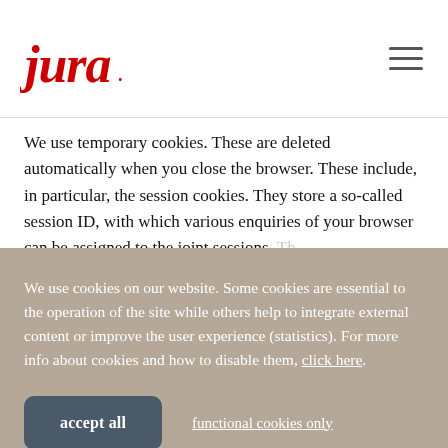[Figure (logo): Jura logo in red italic script with dot after 'jura']
We use temporary cookies. These are deleted automatically when you close the browser. These include, in particular, the session cookies. They store a so-called session ID, with which various enquiries of your browser can be assigned to the joint sessions. The...
We use cookies on our website. Some cookies are essential to the operation of the site while others help to integrate external content or improve the user experience (statistics). For more info about cookies and how to disable them, click here.
accept all
functional cookies only